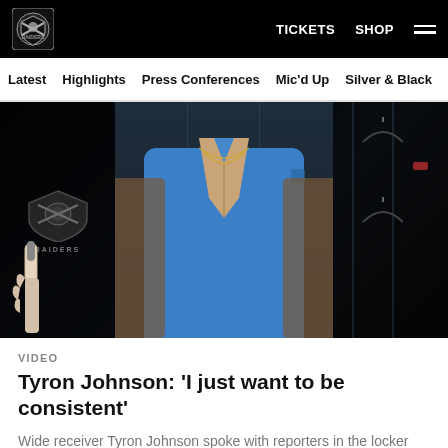Raiders | TICKETS  SHOP
Latest  Highlights  Press Conferences  Mic'd Up  Silver & Black
[Figure (photo): A man wearing a blue polo shirt in a locker room setting with Raiders branding in the background. A microphone is held up from the left side.]
VIDEO
Tyron Johnson: 'I just want to be consistent'
Wide receiver Tyron Johnson spoke with reporters in the locker room following the victory over the Minnesota Vikings in Week 1 of the preseason.
[Figure (photo): Thumbnail image of a Raiders player in uniform on the field.]